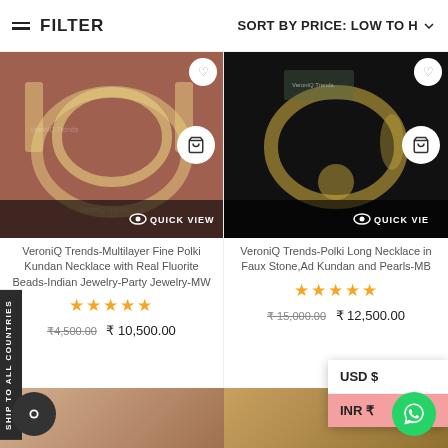≡ FILTER    SORT BY PRICE: LOW TO H ▾
[Figure (photo): Kundan multilayer necklace with green fluorite beads on pink/brown background with Quick View overlay]
[Figure (photo): Polki long necklace with red stones on black background with Quick View overlay]
VeroniQ Trends-Multilayer Fine Polki Kundan Necklace with Real Fluorite Beads-Indian Jewelry-Party Jewelry-MW
VeroniQ Trends-Polki Long Necklace in Faux Stone,Ad Kundan and Pearls-MB
★★★★★
★★★★★
₹4,500.00  ₹ 10,500.00
₹ 15,000.00  ₹ 12,500.00
USD $
INR ₹
SHIP TO ALL COUNTRIES